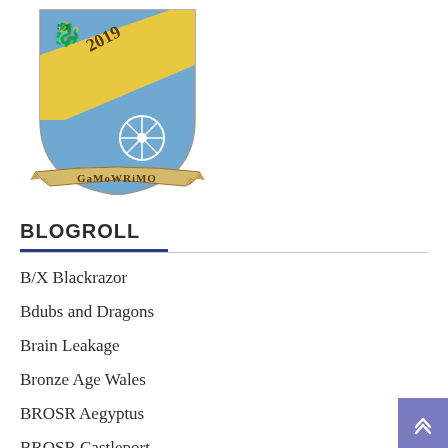[Figure (logo): GaMoWriMo 2019 heraldic shield logo with blue and gold diagonal band, dragon in upper left, wheel/compass rose in lower right, and a banner reading GAMOWRIMO at the bottom]
BLOGROLL
B/X Blackrazor
Bdubs and Dragons
Brain Leakage
Bronze Age Wales
BROSR Aegyptus
BROSR Castleport
BROSR The Red Frontier